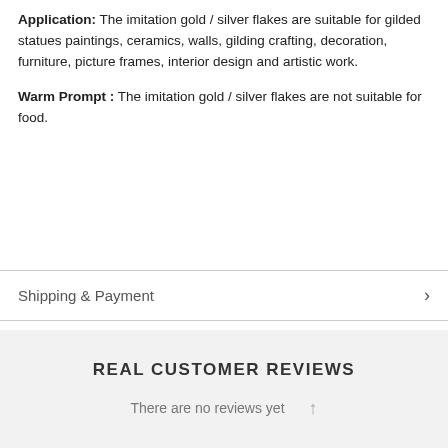Application: The imitation gold / silver flakes are suitable for gilded statues paintings, ceramics, walls, gilding crafting, decoration, furniture, picture frames, interior design and artistic work.
Warm Prompt : The imitation gold / silver flakes are not suitable for food.
Shipping & Payment
REAL CUSTOMER REVIEWS
There are no reviews yet